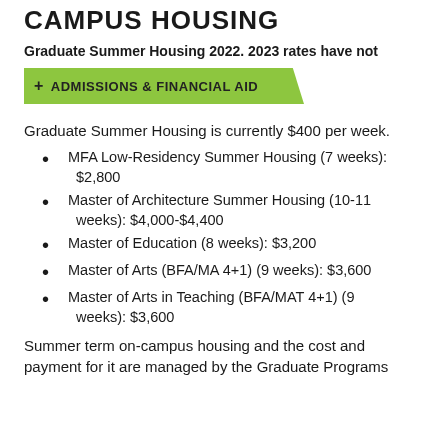CAMPUS HOUSING
Graduate Summer Housing 2022. 2023 rates have not
+ ADMISSIONS & FINANCIAL AID
Graduate Summer Housing is currently $400 per week.
MFA Low-Residency Summer Housing (7 weeks): $2,800
Master of Architecture Summer Housing (10-11 weeks): $4,000-$4,400
Master of Education (8 weeks): $3,200
Master of Arts (BFA/MA 4+1) (9 weeks): $3,600
Master of Arts in Teaching (BFA/MAT 4+1) (9 weeks): $3,600
Summer term on-campus housing and the cost and payment for it are managed by the Graduate Programs